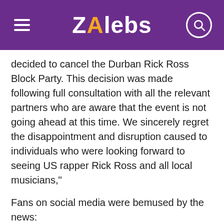ZAlebs
decided to cancel the Durban Rick Ross Block Party. This decision was made following full consultation with all the relevant partners who are aware that the event is not going ahead at this time. We sincerely regret the disappointment and disruption caused to individuals who were looking forward to seeing US rapper Rick Ross and all local musicians,"
Fans on social media were bemused by the news:
[Figure (logo): Twitter bird logo in blue, large size, partially cropped at bottom of page]